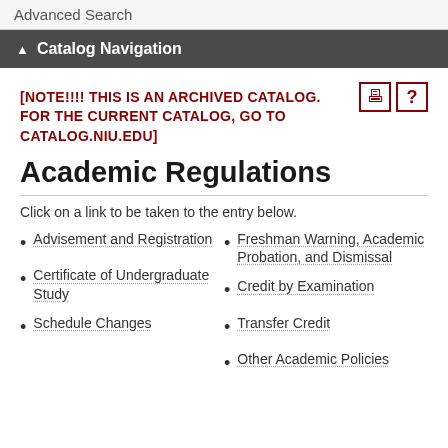Advanced Search
Catalog Navigation
[NOTE!!!! THIS IS AN ARCHIVED CATALOG. FOR THE CURRENT CATALOG, GO TO CATALOG.NIU.EDU]
Academic Regulations
Click on a link to be taken to the entry below.
Advisement and Registration
Certificate of Undergraduate Study
Schedule Changes
Freshman Warning, Academic Probation, and Dismissal
Credit by Examination
Transfer Credit
Other Academic Policies